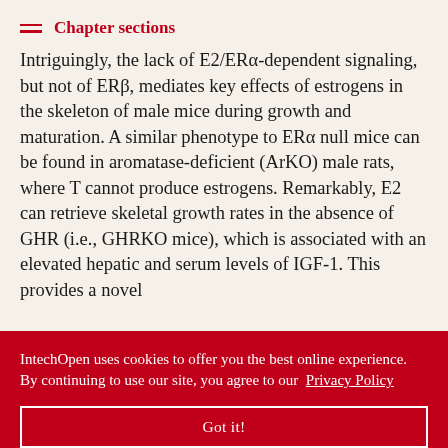Chapter sections
Intriguingly, the lack of E2/ERα-dependent signaling, but not of ERβ, mediates key effects of estrogens in the skeleton of male mice during growth and maturation. A similar phenotype to ERα null mice can be found in aromatase-deficient (ArKO) male rats, where T cannot produce estrogens. Remarkably, E2 can retrieve skeletal growth rates in the absence of GHR (i.e., GHRKO mice), which is associated with an elevated hepatic and serum levels of IGF-1. This provides a novel mechanism of hepatic IGF production, ... E2 can ... oothyroid ... ndetectable ... elated ... pubertal growth are thought to be partially mediated by sex